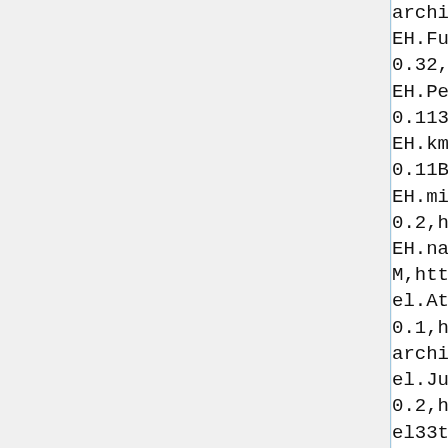archive.strangeautomata.com/ro
EH.Fusion
0.32,http://robocoderepository.
EH.Pegasus
0.113,http://robocoderepository
EH.kms.LightningStorm
0.11B,http://robocoderepository
EH.mini.Panther
0.2,http://robocoderepository.c
EH.nano.NightBird
M,http://robocoderepository.com
el.Attackr
0.1,http://robocode-archive.strangeautomata.com/rob
el.JumpShoot
0.2,http://www.robocodereposito
el33t.EL33tGangstarr2
2.0,http://www.robocodereposito
eld.Hmm
1.0,http://robocode-archive.strangeautomata.com/rob
element.Earth
1.1,http://www.robocodereposito
elloco.Flower
0.1r1,http://www.robocodereposi